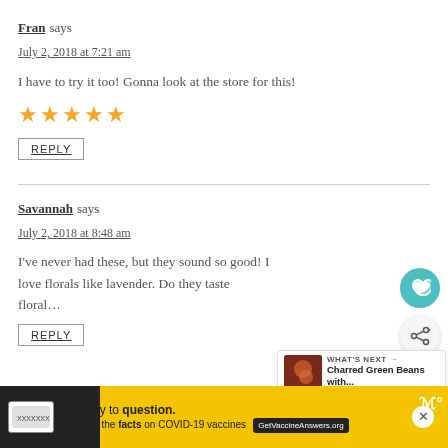Fran says
July 2, 2018 at 7:21 am
I have to try it too! Gonna look at the store for this!
[Figure (other): Five gold/yellow star rating icons]
REPLY
Savannah says
July 2, 2018 at 8:48 am
I've never had these, but they sound so good! I love florals like lavender. Do they taste floral…
REPLY
[Figure (other): Teal heart icon button (favorite/like)]
[Figure (other): Share icon button]
[Figure (other): What's Next widget showing Charred Green Beans with...]
[Figure (other): Advertisement banner: It's okay to question. Now get the facts on COVID-19 vaccines. GetVaccineAnswers.org]